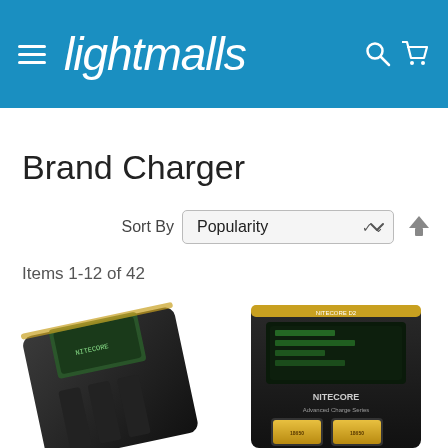lightmalls
Brand Charger
Sort By  Popularity
Items 1-12 of 42
[Figure (photo): Nitecore battery charger device, black, angled view showing LCD display and two battery slots]
[Figure (photo): Nitecore advanced charger device with gold trim, showing LCD display and two yellow batteries inserted]